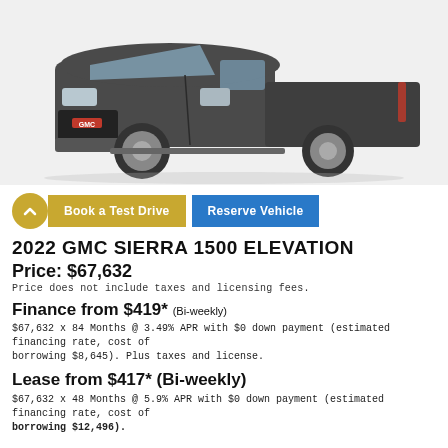[Figure (photo): Dark grey 2022 GMC Sierra 1500 Elevation pickup truck, front three-quarter view on white background]
Book a Test Drive   Reserve Vehicle
2022 GMC SIERRA 1500 ELEVATION
Price: $67,632
Price does not include taxes and licensing fees.
Finance from $419* (Bi-weekly)
$67,632 x 84 Months @ 3.49% APR with $0 down payment (estimated financing rate, cost of borrowing $8,645). Plus taxes and license.
Lease from $417* (Bi-weekly)
$67,632 x 48 Months @ 5.9% APR with $0 down payment (estimated financing rate, cost of borrowing $12,496).